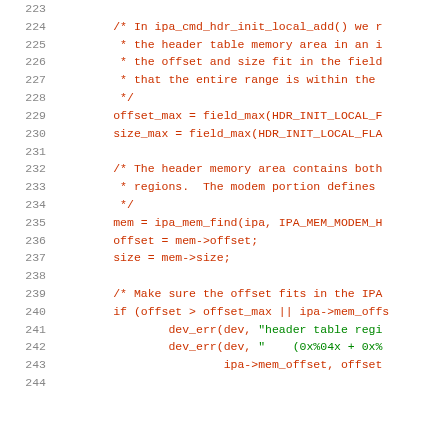[Figure (screenshot): Source code listing showing C code lines 223-244, with line numbers in gray on the left and code in dark red/maroon monospace font. Green string literals visible on lines 241-242.]